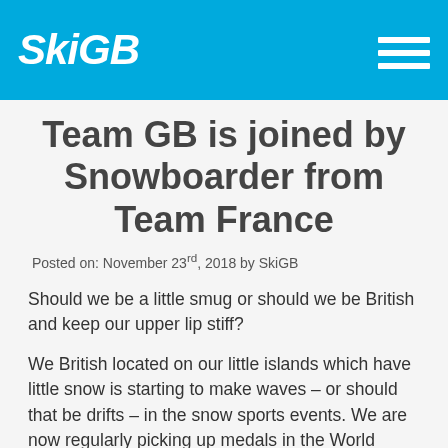SkiGB
Team GB is joined by Snowboarder from Team France
Posted on: November 23rd, 2018 by SkiGB
Should we be a little smug or should we be British and keep our upper lip stiff?
We British located on our little islands which have little snow is starting to make waves – or should that be drifts – in the snow sports events. We are now regularly picking up medals in the World Championships and Winter Olympics for pretty much all the sports we compete in.
“Shout out to team GB – well done!”